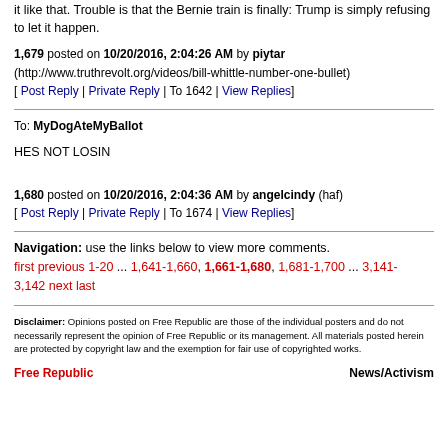it like that. Trouble is that the Bernie train is finally: Trump is simply refusing to let it happen.
1,679 posted on 10/20/2016, 2:04:26 AM by piytar (http://www.truthrevolt.org/videos/bill-whittle-number-one-bullet) [ Post Reply | Private Reply | To 1642 | View Replies]
To: MyDogAteMyBallot
HES NOT LOSIN
1,680 posted on 10/20/2016, 2:04:36 AM by angelcindy (haf) [ Post Reply | Private Reply | To 1674 | View Replies]
Navigation: use the links below to view more comments. first previous 1-20 ... 1,641-1,660, 1,661-1,680, 1,681-1,700 ... 3,141-3,142 next last
Disclaimer: Opinions posted on Free Republic are those of the individual posters and do not necessarily represent the opinion of Free Republic or its management. All materials posted herein are protected by copyright law and the exemption for fair use of copyrighted works.
Free Republic    News/Activism